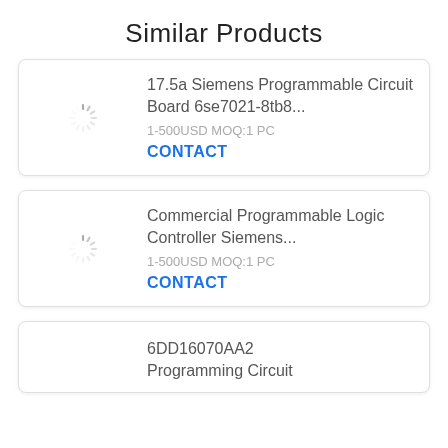Similar Products
17.5a Siemens Programmable Circuit Board 6se7021-8tb8...
1-500USD MOQ:1 PC
CONTACT
Commercial Programmable Logic Controller Siemens...
1-500USD MOQ:1 PC
CONTACT
6DD16070AA2 Programming Circuit